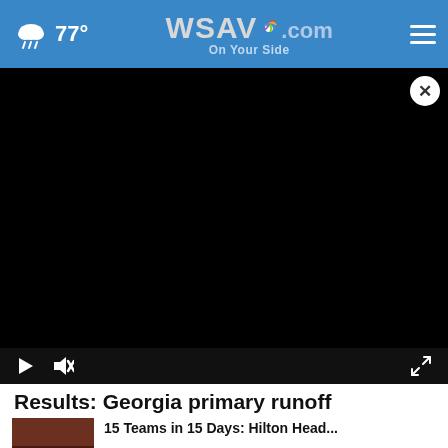WSAV.com On Your Side – 77°
[Figure (screenshot): Black video player area with play button, mute button, and fullscreen button controls. A white close (X) button appears in the upper right corner.]
Results: Georgia primary runoff
[Figure (photo): Small thumbnail image showing a partially visible scene, appears dark/reddish toned.]
15 Teams in 15 Days: Hilton Head...